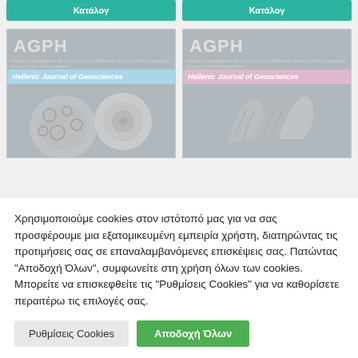[Figure (screenshot): Two teal/green buttons labeled 'Κατάλογ' at the top of the page side by side]
[Figure (screenshot): Two AGPH Hellenic Journal of Geosciences journal covers side by side - left with blue banner and fossil images, right with pink banner and shell/fossil images]
Χρησιμοποιούμε cookies στον ιστότοπό μας για να σας προσφέρουμε μια εξατομικευμένη εμπειρία χρήστη, διατηρώντας τις προτιμήσεις σας σε επαναλαμβανόμενες επισκέψεις σας. Πατώντας "Αποδοχή Όλων", συμφωνείτε στη χρήση όλων των cookies. Μπορείτε να επισκεφθείτε τις "Ρυθμίσεις Cookies" για να καθορίσετε περαιτέρω τις επιλογές σας.
Ρυθμίσεις Cookies
Αποδοχή Όλων